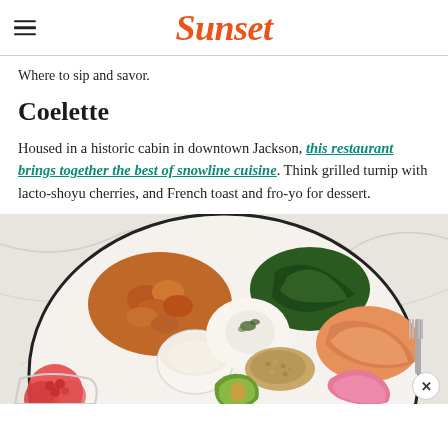Sunset
Where to sip and savor.
Coelette
Housed in a historic cabin in downtown Jackson, this restaurant brings together the best of snowline cuisine. Think grilled turnip with lacto-shoyu cherries, and French toast and fro-yo for dessert.
[Figure (photo): Overhead photo of a plate with various foods including roasted vegetables, salmon, a poached egg, avocado, pickled onions, grains, and a small cup of sauce, on a marble surface.]